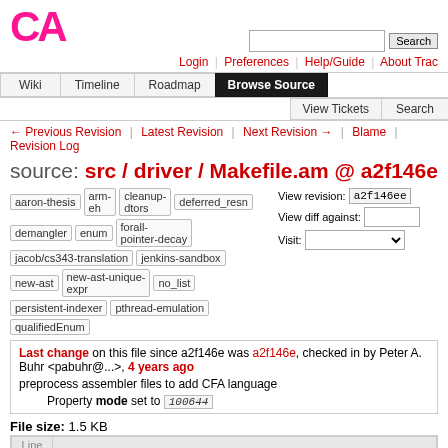[Figure (logo): Cforall project logo: bold pink/magenta 'CA' letters]
Login | Preferences | Help/Guide | About Trac
Wiki | Timeline | Roadmap | Browse Source | View Tickets | Search
← Previous Revision | Latest Revision | Next Revision → | Blame | Revision Log
source: src / driver / Makefile.am @ a2f146e
aaron-thesis arm-eh cleanup-dtors deferred_resn demangler enum forall-pointer-decay jacob/cs343-translation jenkins-sandbox new-ast new-ast-unique-expr no_list persistent-indexer pthread-emulation qualifiedEnum
View revision: a2f146ee  View diff against:  Visit:
Last change on this file since a2f146e was a2f146e, checked in by Peter A. Buhr <pabuhr@...>, 4 years ago
preprocess assembler files to add CFA language
Property mode set to 100644
File size: 1.5 KB
| Line |  |
| --- | --- |
| 1 | ######################## -*- Mode: Makefile-Automake -*-
######################## |
| 2 | ## |
| 3 | ## Cforall Version 1.0.0 Copyright (C) 2015 University |